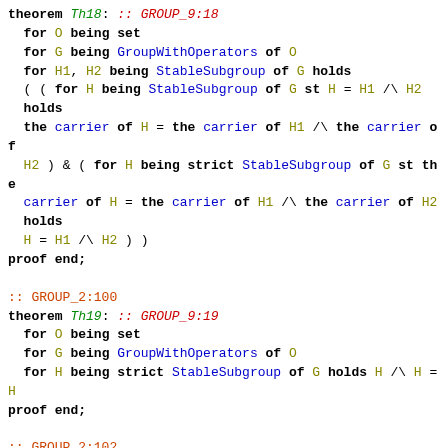theorem Th18: :: GROUP_9:18
  for O being set
  for G being GroupWithOperators of O
  for H1, H2 being StableSubgroup of G holds
  ( ( for H being StableSubgroup of G st H = H1 /\ H2
  holds
  the carrier of H = the carrier of H1 /\ the carrier of
  H2 ) & ( for H being strict StableSubgroup of G st the
  carrier of H = the carrier of H1 /\ the carrier of H2
  holds
  H = H1 /\ H2 ) )
proof end;
:: GROUP_2:100
theorem Th19: :: GROUP_9:19
  for O being set
  for G being GroupWithOperators of O
  for H being strict StableSubgroup of G holds H /\ H = H
proof end;
:: GROUP_2:102
theorem Th20: :: GROUP_9:20
  for O being set
  for G being GroupWithOperators of O
  for H1, H2, H3 being StableSubgroup of G holds (H1 /\
  H2) /\ H3 = H1 /\ (H2 /\ H3)
proof end;
Lm21: for O being set
for G being GroupWithOperators of O